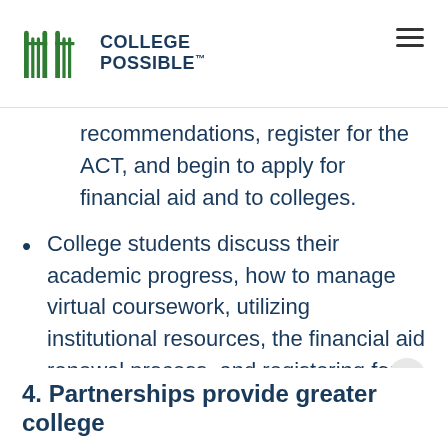College Possible
recommendations, register for the ACT, and begin to apply for financial aid and to colleges.
College students discuss their academic progress, how to manage virtual coursework, utilizing institutional resources, the financial aid renewal process, and registering for courses.
4. Partnerships provide greater college